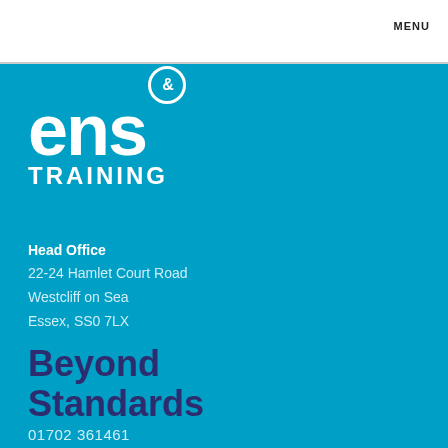MENU
[Figure (logo): ENS& Training logo — white bold lowercase 'ens' with a circled ampersand superscript, and 'TRAINING' in white bold caps beneath, on a blue background]
Head Office
22-24 Hamlet Court Road
Westcliff on Sea
Essex, SS0 7LX
Beyond Standards
01702 361461
training@ensgroup.co.uk